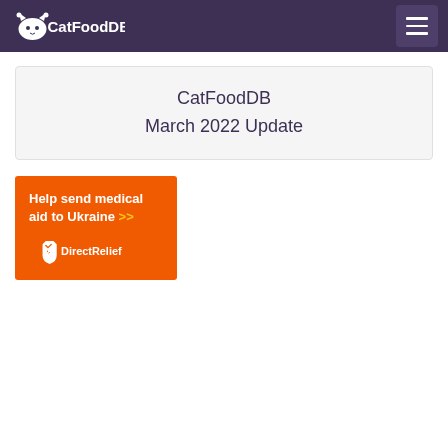CatFoodDB
CatFoodDB
March 2022 Update
[Figure (infographic): Orange banner advertisement: 'Help send medical aid to Ukraine >> DirectRelief']